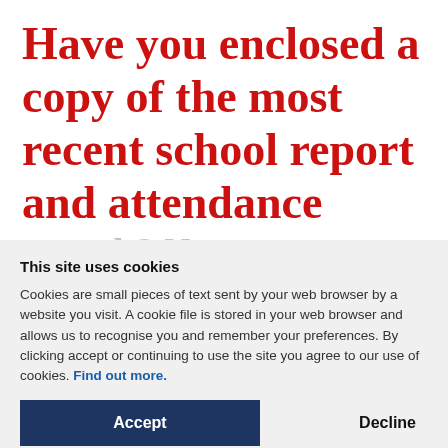Have you enclosed a copy of the most recent school report and attendance records? No
This site uses cookies
Cookies are small pieces of text sent by your web browser by a website you visit. A cookie file is stored in your web browser and allows us to recognise you and remember your preferences. By clicking accept or continuing to use the site you agree to our use of cookies. Find out more.
Accept
Decline
Manage settings